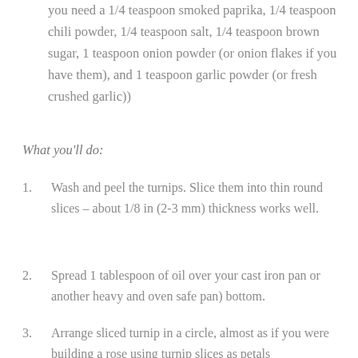you need a 1/4 teaspoon smoked paprika, 1/4 teaspoon chili powder, 1/4 teaspoon salt, 1/4 teaspoon brown sugar, 1 teaspoon onion powder (or onion flakes if you have them), and 1 teaspoon garlic powder (or fresh crushed garlic))
What you'll do:
Wash and peel the turnips. Slice them into thin round slices – about 1/8 in (2-3 mm) thickness works well.
Spread 1 tablespoon of oil over your cast iron pan or another heavy and oven safe pan) bottom.
Arrange sliced turnip in a circle, almost as if you were building a rose using turnip slices as petals